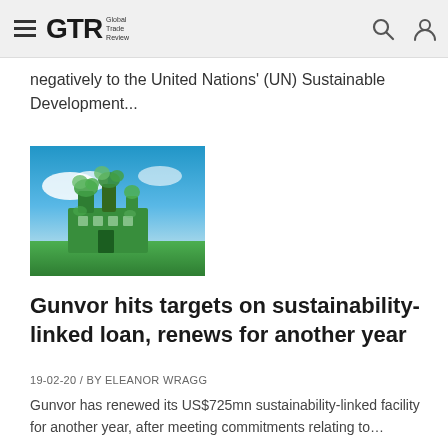GTR Global Trade Review
negatively to the United Nations' (UN) Sustainable Development...
[Figure (photo): Green factory/industrial building made of plants and leaves on a grassy field with blue sky background]
Gunvor hits targets on sustainability-linked loan, renews for another year
19-02-20 / BY ELEANOR WRAGG
Gunvor has renewed its US$725mn sustainability-linked facility for another year, after meeting commitments relating to...
[Figure (screenshot): Partial table or document screenshot visible at bottom of page]